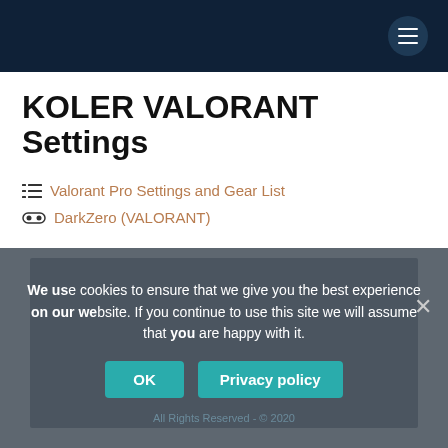KOLER VALORANT Settings - navigation bar with hamburger menu
KOLER VALORANT Settings
Valorant Pro Settings and Gear List
DarkZero (VALORANT)
[Figure (other): Dark navy blue video/image placeholder rectangle]
We use cookies to ensure that we give you the best experience on our website. If you continue to use this site we will assume that you are happy with it.
OK  Privacy policy
All Rights Reserved - © 2020